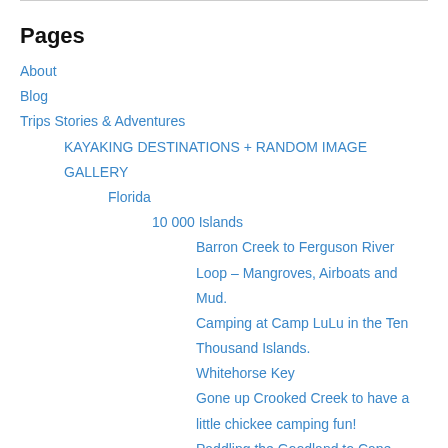Pages
About
Blog
Trips Stories & Adventures
KAYAKING DESTINATIONS + RANDOM IMAGE GALLERY
Florida
10 000 Islands
Barron Creek to Ferguson River Loop – Mangroves, Airboats and Mud.
Camping at Camp LuLu in the Ten Thousand Islands.
Whitehorse Key
Gone up Crooked Creek to have a little chickee camping fun!
Paddling the Goodland to Cape Romano loop and camping in the aftermath of Hurricane Irma.
Escape from Babylon into the Ten Thousand Islands.
Everglades National Park
Coastal